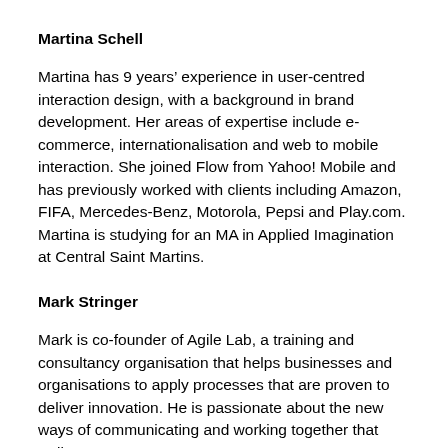Martina Schell
Martina has 9 years’ experience in user-centred interaction design, with a background in brand development. Her areas of expertise include e-commerce, internationalisation and web to mobile interaction. She joined Flow from Yahoo! Mobile and has previously worked with clients including Amazon, FIFA, Mercedes-Benz, Motorola, Pepsi and Play.com. Martina is studying for an MA in Applied Imagination at Central Saint Martins.
Mark Stringer
Mark is co-founder of Agile Lab, a training and consultancy organisation that helps businesses and organisations to apply processes that are proven to deliver innovation. He is passionate about the new ways of communicating and working together that Agile